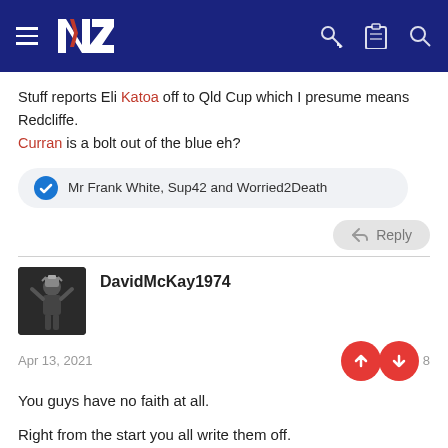NZ Warriors forum header with logo, hamburger menu, key, clipboard, and search icons
Stuff reports Eli Katoa off to Qld Cup which I presume means Redcliffe.
Curran is a bolt out of the blue eh?
Mr Frank White, Sup42 and Worried2Death
Reply
DavidMcKay1974
Apr 13, 2021
You guys have no faith at all.
Right from the start you all write them off.